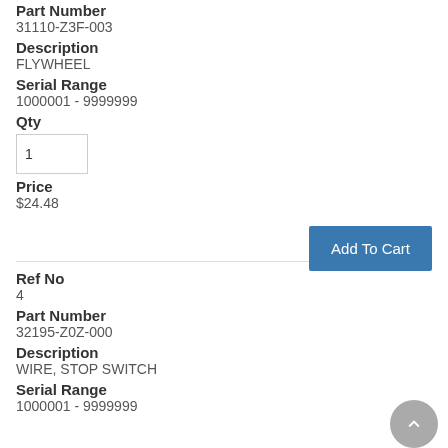Part Number
31110-Z3F-003
Description
FLYWHEEL
Serial Range
1000001 - 9999999
Qty
1
Price
$24.48
Ref No
4
Part Number
32195-Z0Z-000
Description
WIRE, STOP SWITCH
Serial Range
1000001 - 9999999